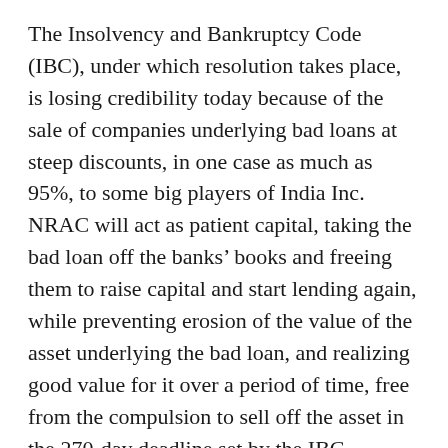The Insolvency and Bankruptcy Code (IBC), under which resolution takes place, is losing credibility today because of the sale of companies underlying bad loans at steep discounts, in one case as much as 95%, to some big players of India Inc. NRAC will act as patient capital, taking the bad loan off the banks’ books and freeing them to raise capital and start lending again, while preventing erosion of the value of the asset underlying the bad loan, and realizing good value for it over a period of time, free from the compulsion to sell off the asset in the 270-day deadline set by the IBC.
How well this model would work depends on how good a job the India Debt Resolution Company performs. Its managers and those whom the managers employ must be given a portion of their remuneration linked to the value they realize from the underlying asset over a period of time.